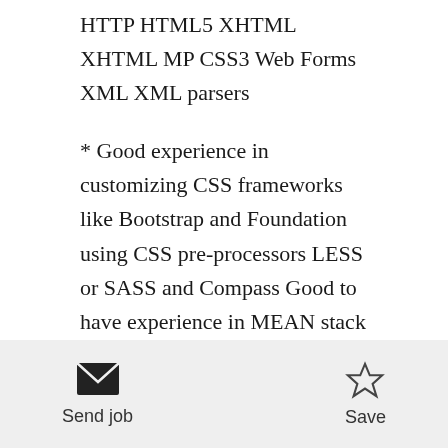HTTP HTML5 XHTML XHTML MP CSS3 Web Forms XML XML parsers
* Good experience in customizing CSS frameworks like Bootstrap and Foundation using CSS pre-processors LESS or SASS and Compass Good to have experience in MEAN stack development Mongo dB Express Node and Angular Implemented easily to use Bootstrap plugins for building carousel accordion modal windows etc
* Good Expertise in analyzing the Document Object Model DOM Layout DOM Functions and Java Script
Send job   Save